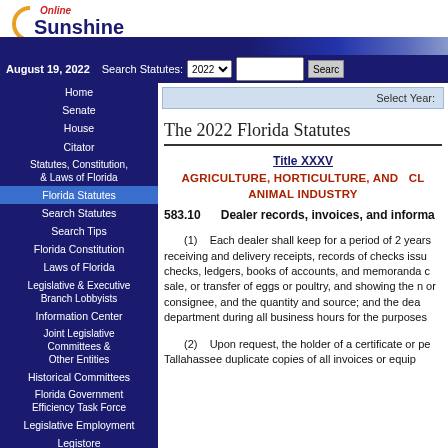[Figure (logo): Online Sunshine logo with sun graphic and text]
August 19, 2022   Search Statutes: 2022 [dropdown] [search box] [Search button]
Home
Senate
House
Citator
Statutes, Constitution, & Laws of Florida
Florida Statutes
Search Statutes
Search Tips
Florida Constitution
Laws of Florida
Legislative & Executive Branch Lobbyists
Information Center
Joint Legislative Committees & Other Entities
Historical Committees
Florida Government Efficiency Task Force
Legislative Employment
Legistore
Select Year:
The 2022 Florida Statutes
Title XXXV
AGRICULTURE, HORTICULTURE, AND CL ANIMAL INDUSTRY
583.10    Dealer records, invoices, and informa
(1)    Each dealer shall keep for a period of 2 years receiving and delivery receipts, records of checks issu checks, ledgers, books of accounts, and memoranda c sale, or transfer of eggs or poultry, and showing the n or consignee, and the quantity and source; and the dea department during all business hours for the purposes
(2)    Upon request, the holder of a certificate or pe Tallahassee duplicate copies of all invoices or equip